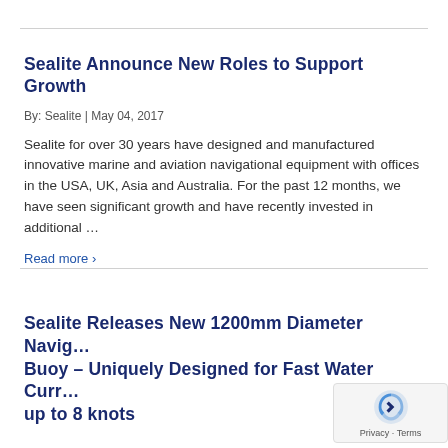Sealite Announce New Roles to Support Growth
By: Sealite | May 04, 2017
Sealite for over 30 years have designed and manufactured innovative marine and aviation navigational equipment with offices in the USA, UK, Asia and Australia. For the past 12 months, we have seen significant growth and have recently invested in additional …
Read more ›
Sealite Releases New 1200mm Diameter Navig… Buoy – Uniquely Designed for Fast Water Curr… up to 8 knots